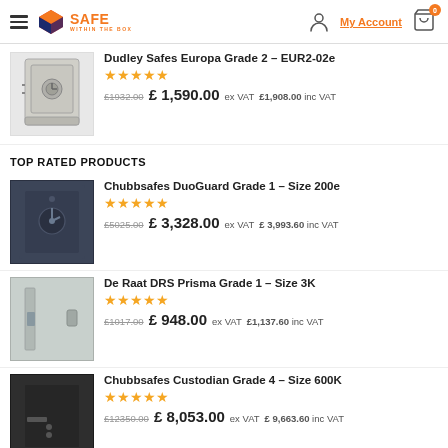Safe Within The Box - My Account - Cart (0)
Dudley Safes Europa Grade 2 – EUR2-02e | ★★★★★ | £1932.00 £ 1,590.00 ex VAT £1,908.00 inc VAT
TOP RATED PRODUCTS
Chubbsafes DuoGuard Grade 1 – Size 200e | ★★★★★ | £5025.00 £ 3,328.00 ex VAT £ 3,993.60 inc VAT
De Raat DRS Prisma Grade 1 – Size 3K | ★★★★★ | £1017.00 £ 948.00 ex VAT £1,137.60 inc VAT
Chubbsafes Custodian Grade 4 – Size 600K | ★★★★★ | £12350.00 £ 8,053.00 ex VAT £ 9,663.60 inc VAT